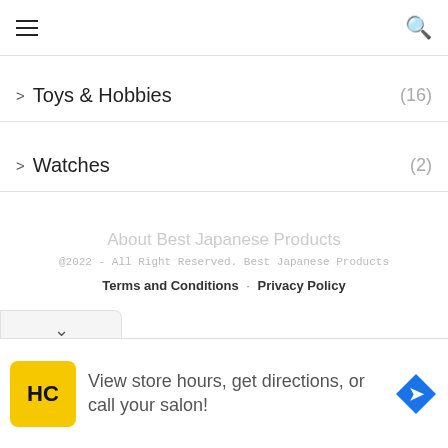≡  🔍
> Toys & Hobbies (16)
> Watches (2)
About Best Japanese Products
@2022 - All Right Reserved. Best Japanese Products
Terms and Conditions · Privacy Policy
View store hours, get directions, or call your salon!